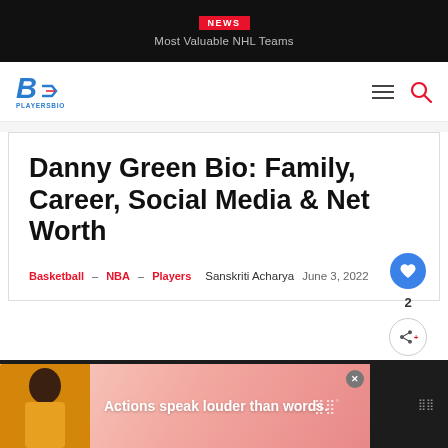NEWS | Most Valuable NHL Teams
[Figure (logo): PlayersBio logo — blue stylized B with PLAYERSBIO text in blue]
Danny Green Bio: Family, Career, Social Media & Net Worth
Basketball – NBA – Players   Sanskriti Acharya   June 3, 2022
[Figure (photo): Advertisement banner with person in yellow shirt, text: Actions speak louder than words.]